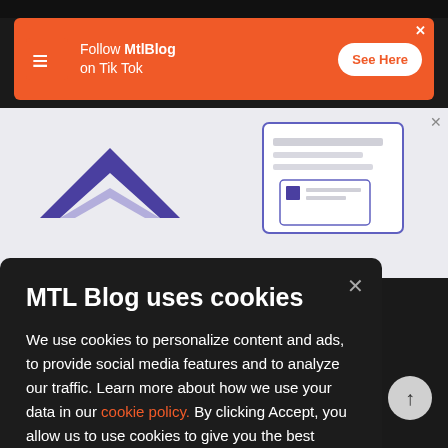[Figure (infographic): Orange TikTok promotional ad banner for MtlBlog with logo, text 'Follow MtlBlog on Tik Tok' and a 'See Here' button]
[Figure (illustration): Background illustration showing a purple upward chevron/arrow icon on the left and a document/card UI mockup on the right, on a light gray background]
MTL Blog uses cookies
We use cookies to personalize content and ads, to provide social media features and to analyze our traffic. Learn more about how we use your data in our cookie policy. By clicking Accept, you allow us to use cookies to give you the best experience on site.
Accept